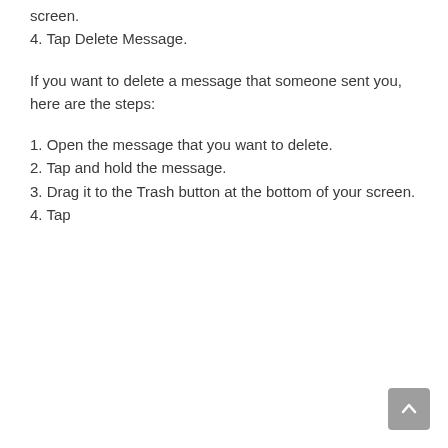screen.
4. Tap Delete Message.
If you want to delete a message that someone sent you, here are the steps:
1. Open the message that you want to delete.
2. Tap and hold the message.
3. Drag it to the Trash button at the bottom of your screen.
4. Tap